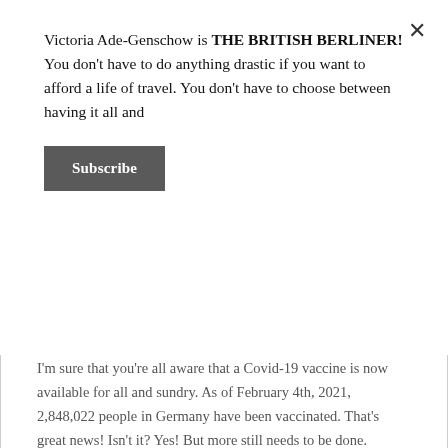Victoria Ade-Genschow is THE BRITISH BERLINER! You don't have to do anything drastic if you want to afford a life of travel. You don't have to choose between having it all and
Subscribe
I'm sure that you're all aware that a Covid-19 vaccine is now available for all and sundry. As of February 4th, 2021, 2,848,022 people in Germany have been vaccinated. That's great news! Isn't it? Yes! But more still needs to be done. There's a...
Continue Reading
Privacy & Cookies: This site uses cookies. By continuing to use this website, you agree to their use.
To find out more, including how to control cookies, see here: Cookie Policy
Close and accept
Like this: